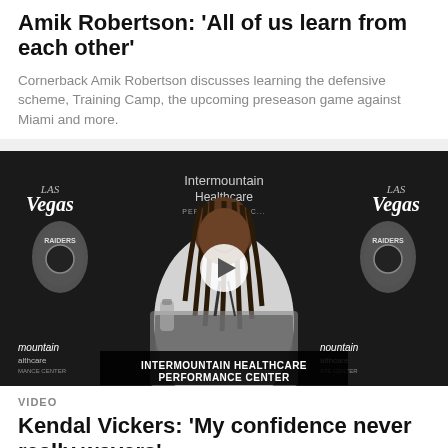Amik Robertson: 'All of us learn from each other'
Cornerback Amik Robertson discusses learning the defensive scheme, Training Camp, the upcoming preseason game against Miami and more.
[Figure (photo): Video thumbnail showing Amik Robertson at a press conference podium with Raiders and Las Vegas branding on the backdrop. A white play button overlay is centered on the image. A banner reads 'INTERMOUNTAIN HEALTHCARE PERFORMANCE CENTER'.]
VIDEO
Kendal Vickers: 'My confidence never really wavers'